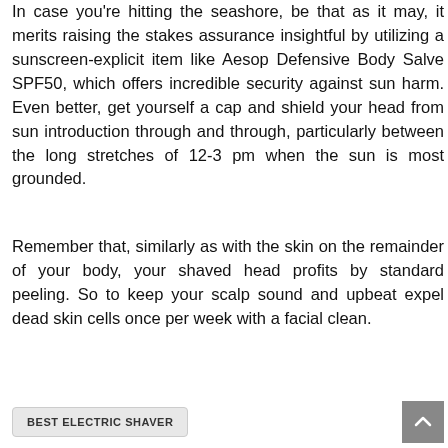In case you're hitting the seashore, be that as it may, it merits raising the stakes assurance insightful by utilizing a sunscreen-explicit item like Aesop Defensive Body Salve SPF50, which offers incredible security against sun harm. Even better, get yourself a cap and shield your head from sun introduction through and through, particularly between the long stretches of 12-3 pm when the sun is most grounded.
Remember that, similarly as with the skin on the remainder of your body, your shaved head profits by standard peeling. So to keep your scalp sound and upbeat expel dead skin cells once per week with a facial clean.
BEST ELECTRIC SHAVER